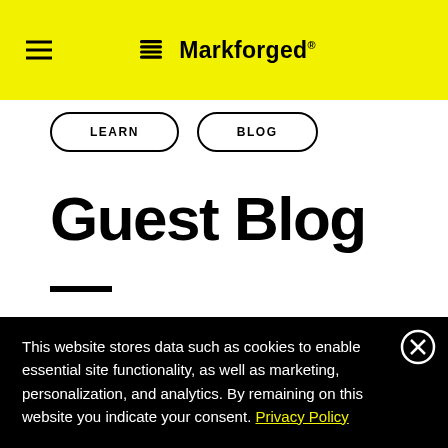Markforged
[Figure (logo): Markforged logo with layered hexagon icon and wordmark on yellow background]
LEARN   BLOG
Guest Blog — Charles Guan Gearing Up (and Down) with
This website stores data such as cookies to enable essential site functionality, as well as marketing, personalization, and analytics. By remaining on this website you indicate your consent. Privacy Policy